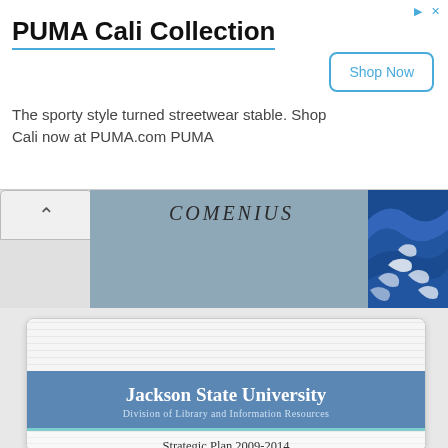PUMA Cali Collection
The sporty style turned streetwear stable. Shop Cali now at PUMA.com PUMA
Shop Now
COMENIUS
[Figure (illustration): Blue wave decorative image in the top-right corner of the Comenius banner]
Jackson State University
Division of Library and Information Resources
Strategic Plan 2009-2014
Prepared by Melissa Druckrey
and
Jama Lumumba